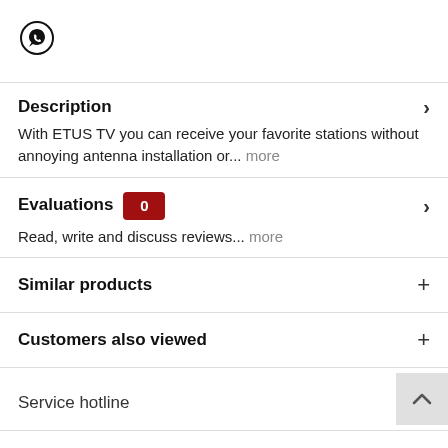[Figure (logo): WhatsApp icon (speech bubble with phone handset)]
Description
With ETUS TV you can receive your favorite stations without annoying antenna installation or... more
Evaluations 0
Read, write and discuss reviews... more
Similar products
Customers also viewed
Service hotline
Info & Help
Informations